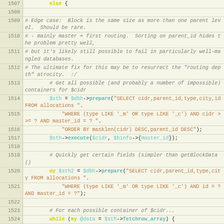[Figure (screenshot): Source code listing lines 1507-1529 showing PHP/Perl code for database query logic with syntax highlighting. Line numbers in left gutter, code on right with colored keywords, variables, strings, and comments.]